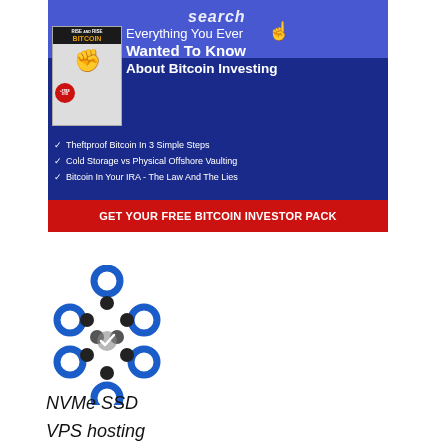[Figure (infographic): Bitcoin investing advertisement banner with dark blue background, book cover showing 'Rise and Rise Bitcoin +FREE DVD', headline 'Everything You Ever Wanted To Know About Bitcoin Investing', checklist bullets: 'Theftproof Bitcoin In 3 Simple Steps', 'Cold Storage vs Physical Offshore Vaulting', 'Bitcoin In Your IRA - The Law And The Lies', and red CTA button 'GET YOUR FREE BITCOIN INVESTOR PACK']
[Figure (logo): NVMe SSD hosting company logo: blue rings arranged in a circular/cluster pattern with black dots in the center]
NVMe SSD
VPS hosting